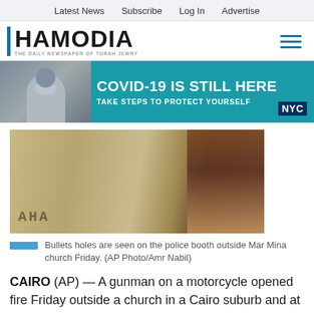Latest News   Subscribe   Log In   Advertise
[Figure (logo): Hamodia logo — THE DAILY NEWSPAPER OF TORAH JEWRY — with blue vertical bar and hamburger menu icon]
[Figure (photo): COVID-19 IS STILL HERE — TAKE STEPS TO PROTECT YOURSELF — NYC advertisement banner with masked person on phone]
[Figure (photo): Photo of bullet holes on a stone police booth wall outside Mar Mina church]
Bullets holes are seen on the police booth outside Mar Mina church Friday. (AP Photo/Amr Nabil)
CAIRO (AP) — A gunman on a motorcycle opened fire Friday outside a church in a Cairo suburb and at a nearby store, sparking a shootout that killed at least nine people, including eight Coptic Christians, in the latest attack targeting the country's embattled Christian minority.